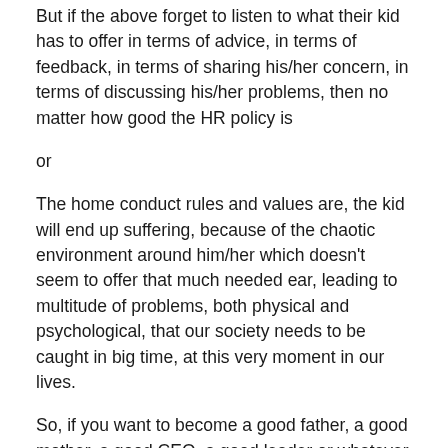But if the above forget to listen to what their kid has to offer in terms of advice, in terms of feedback, in terms of sharing his/her concern, in terms of discussing his/her problems, then no matter how good the HR policy is
or
The home conduct rules and values are, the kid will end up suffering, because of the chaotic environment around him/her which doesn't seem to offer that much needed ear, leading to multitude of problems, both physical and psychological, that our society needs to be caught in big time, at this very moment in our lives.
So, if you want to become a good father, a good mother, a good CEO, a good leader or whatever category of good, you need to imbibe this art of listening.